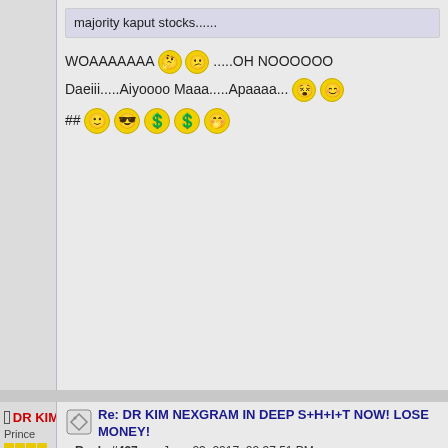majority kaput stocks......
WOAAAAAAA [emoji] [emoji].....OH NOOOOOO
Daeiii.....Aiyoooo Maaa.....Apaaaa... [emoji] [emoji]
## [emoji smile] [emoji cool] [emoji dollar] [emoji dollar] [emoji wink]
DR KIM
Prince
Posts: 44,772
Re: DR KIM NEXGRAM IN DEEP S+H+I+T NOW! LOSE MONEY!
« Reply #427 on: June 23, 2017, 02:37:51 PM »
Quote from: ongchef on June 23, 2017, 02:34:08
.... ;)DR KIM,pull out 4.5sen buy lar [emoji],don
BE GREEEEEEEEEEEEEDY while gra... SHIVERINGG
[emoji scared] [emoji scared] [emoji thumbsup] [emoji dollar] [emoji dollar] [emoji smile]